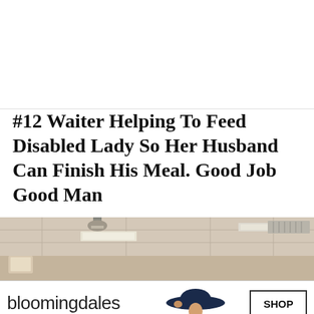#12 Waiter Helping To Feed Disabled Lady So Her Husband Can Finish His Meal. Good Job Good Man
[Figure (photo): Interior of a restaurant or cafeteria showing ceiling with recessed lighting panels, a pendant light fixture, and beige walls.]
[Figure (photo): Bloomingdales advertisement banner showing logo, tagline 'View Today's Top Deals!', a woman in a wide-brim navy hat, and a 'SHOP NOW >' button.]